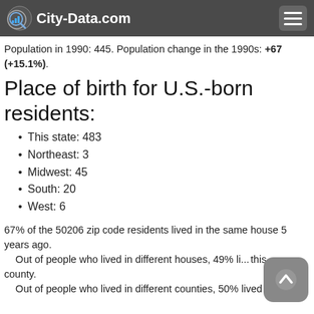City-Data.com
Population in 1990: 445. Population change in the 1990s: +67 (+15.1%).
Place of birth for U.S.-born residents:
This state: 483
Northeast: 3
Midwest: 45
South: 20
West: 6
67% of the 50206 zip code residents lived in the same house 5 years ago.
    Out of people who lived in different houses, 49% li... this county.
    Out of people who lived in different counties, 50% lived in